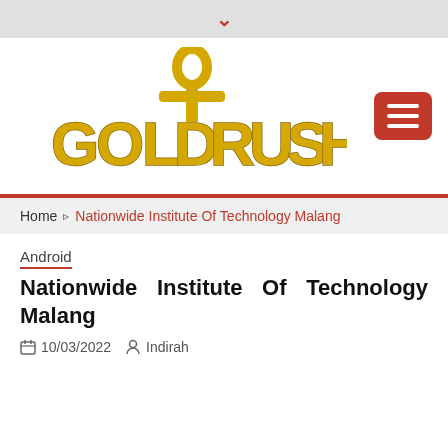[Figure (logo): Gold Rush website logo with ankh symbol in yellow/gold, and hamburger menu button in red]
Home ▸ Nationwide Institute Of Technology Malang
Android
Nationwide Institute Of Technology Malang
10/03/2022  Indirah